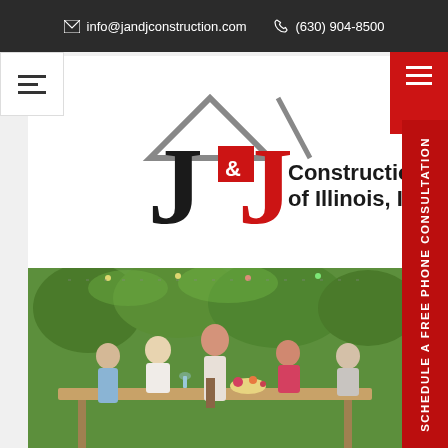info@jandjconstruction.com  (630) 904-8500
[Figure (logo): J&J Construction of Illinois, Inc. logo with house roof icon in black and red]
[Figure (photo): Family gathered around an outdoor table for a meal in a garden, with a woman standing and serving food]